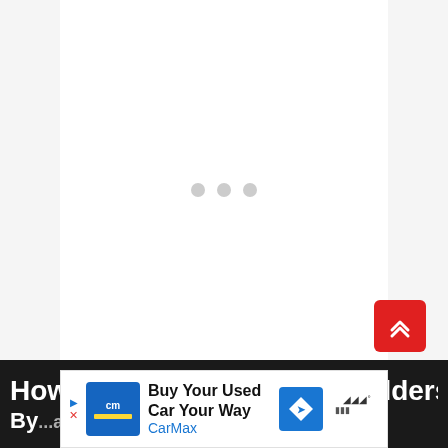[Figure (other): White content loading area with three gray dots indicating a loading spinner or placeholder, on a light gray background]
[Figure (other): Red rounded square button with white double-chevron up arrow, used for scroll-to-top navigation]
How broad are 48 inch shoulders?
By... arch
[Figure (other): CarMax advertisement banner: 'Buy Your Used Car Your Way' with CarMax logo, a blue navigation/direction sign icon, and a meter/gauge icon]